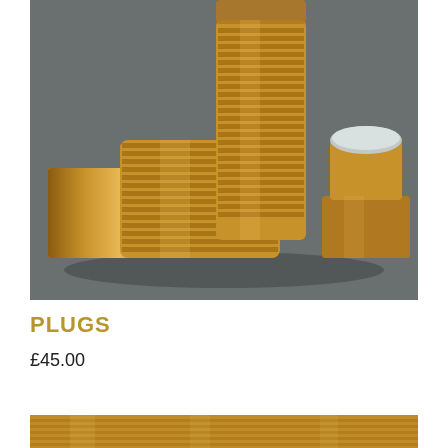[Figure (photo): Three brass threaded pipe plugs of different sizes arranged on a grey surface. Left: large square-head brass plug lying on its side. Center: tall cylindrical threaded brass plug standing upright. Right: smaller square-base brass plug with round top showing silver/machined flat top face.]
PLUGS
£45.00
[Figure (photo): Partial view of another product image at the bottom of the page, showing a warm golden/brass toned item, partially cropped.]